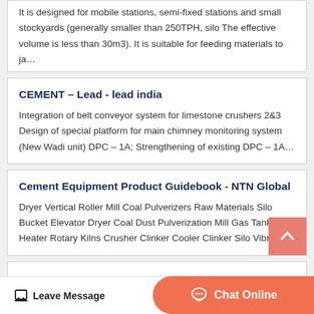It is designed for mobile stations, semi-fixed stations and small stockyards (generally smaller than 250TPH, silo The effective volume is less than 30m3). It is suitable for feeding materials to ja…
CEMENT – Lead - lead india
Integration of belt conveyor system for limestone crushers 2&3 Design of special platform for main chimney monitoring system (New Wadi unit) DPC – 1A; Strengthening of existing DPC – 1A…
Cement Equipment Product Guidebook - NTN Global
Dryer Vertical Roller Mill Coal Pulverizers Raw Materials Silo Bucket Elevator Dryer Coal Dust Pulverization Mill Gas Tank Pre-Heater Rotary Kilns Crusher Clinker Cooler Clinker Silo Vibratin…
Leave Message
Chat Online